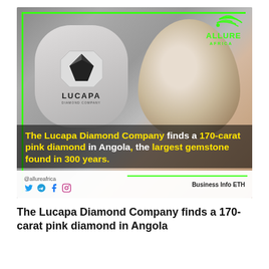[Figure (photo): Photo of a Lucapa Diamond Company branded octagonal metal device next to a large rough pink diamond gemstone, with green border lines overlay and Allure Africa logo in top right. Text overlay reads: 'The Lucapa Diamond Company finds a 170-carat pink diamond in Angola, the largest gemstone found in 300 years.' Social media handles and Business Info ETH shown at bottom.]
The Lucapa Diamond Company finds a 170-carat pink diamond in Angola